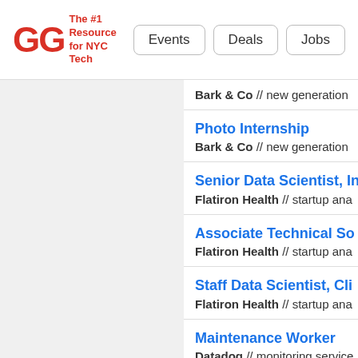GG The #1 Resource for NYC Tech | Events | Deals | Jobs
Bark & Co // new generation
Photo Internship
Bark & Co // new generation
Senior Data Scientist, I...
Flatiron Health // startup ana
Associate Technical So...
Flatiron Health // startup ana
Staff Data Scientist, Cli...
Flatiron Health // startup ana
Maintenance Worker
Datadog // monitoring service